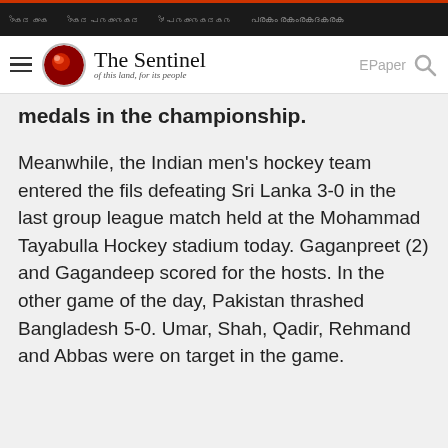nav bar with menu items in regional script
The Sentinel - of this land, for its people | EPaper
medals in the championship.
Meanwhile, the Indian men's hockey team entered the fils defeating Sri Lanka 3-0 in the last group league match held at the Mohammad Tayabulla Hockey stadium today. Gaganpreet (2) and Gagandeep scored for the hosts. In the other game of the day, Pakistan thrashed Bangladesh 5-0. Umar, Shah, Qadir, Rehmand and Abbas were on target in the game.